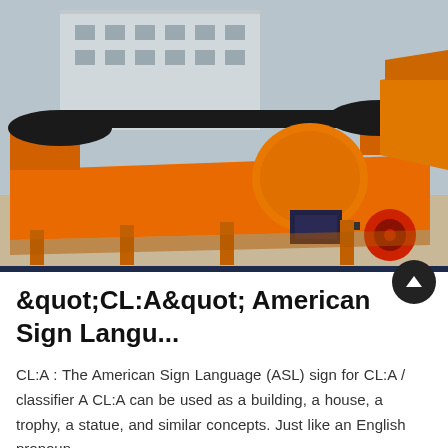[Figure (photo): Large orange industrial machine (likely a conveyor or magnetic separator) with a motor and wheel assembly, photographed outdoors in an industrial yard with a grey building in the background.]
"CL:A" American Sign Langu...
CL:A : The American Sign Language (ASL) sign for CL:A / classifier A CL:A can be used as a building, a house, a trophy, a statue, and similar concepts. Just like an English pronoun,...